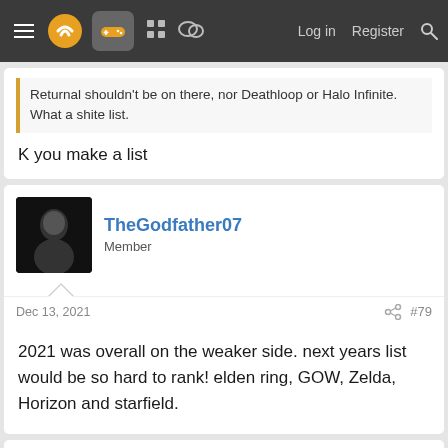Navigation bar with logo, controller icon, forum icons, Log in, Register, Search
Returnal shouldn't be on there, nor Deathloop or Halo Infinite. What a shite list.
K you make a list
TheGodfather07
Member
Dec 13, 2021
#79
2021 was overall on the weaker side. next years list would be so hard to rank! elden ring, GOW, Zelda, Horizon and starfield.
Fuz
Member